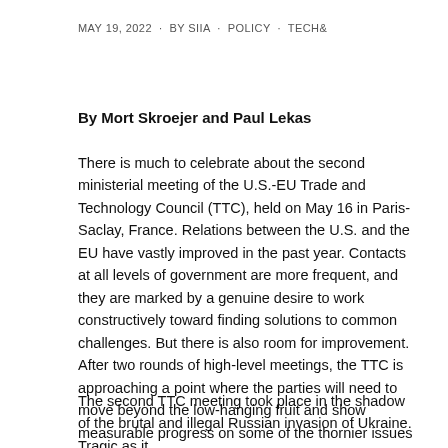MAY 19, 2022 · BY SIIA · POLICY · TECH&
By Mort Skroejer and Paul Lekas
There is much to celebrate about the second ministerial meeting of the U.S.-EU Trade and Technology Council (TTC), held on May 16 in Paris-Saclay, France. Relations between the U.S. and the EU have vastly improved in the past year. Contacts at all levels of government are more frequent, and they are marked by a genuine desire to work constructively toward finding solutions to common challenges. But there is also room for improvement. After two rounds of high-level meetings, the TTC is approaching a point where the parties will need to move beyond the low-hanging fruit and show measurable progress on some of the thornier issues in the transatlantic relationship around digital governance.
The second TTC meeting took place in the shadow of the brutal and illegal Russian invasion of Ukraine. Tragic as it